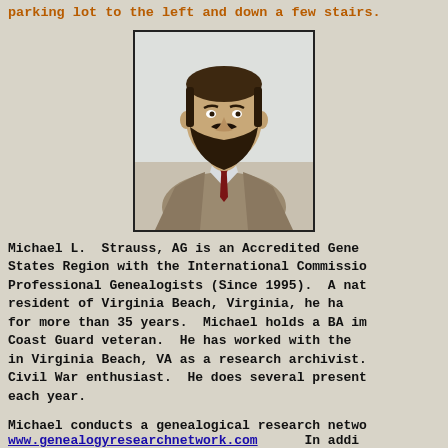parking lot to the left and down a few stairs.
[Figure (photo): Portrait photo of Michael L. Strauss, a bearded man in a brown suit with a dark red tie, against a light background.]
Michael L. Strauss, AG is an Accredited Gene States Region with the International Commissio Professional Genealogists (Since 1995). A nat resident of Virginia Beach, Virginia, he ha for more than 35 years. Michael holds a BA im Coast Guard veteran. He has worked with the in Virginia Beach, VA as a research archivist. Civil War enthusiast. He does several present each year.
Michael conducts a genealogical research netwo www.genealogyresearchnetwork.com    In addi